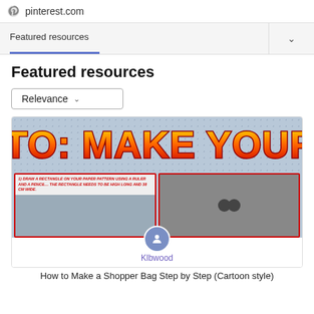pinterest.com
Featured resources
Featured resources
Relevance
[Figure (illustration): Pinterest card showing 'How to: Make Your Bag' craft tutorial with comic-style lettering on a dotted background, showing step-by-step panels with instructions and photos]
Klbwood
How to Make a Shopper Bag Step by Step (Cartoon style)